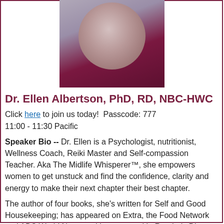[Figure (photo): Portrait photo of Dr. Ellen Albertson, a woman with curly gray-brown hair wearing a purple top and necklace, photographed against a light gray background]
Dr. Ellen Albertson, PhD, RD, NBC-HWC
Click here to join us today!  Passcode: 777
11:00 - 11:30 Pacific
Speaker Bio -- Dr. Ellen is a Psychologist, nutritionist, Wellness Coach, Reiki Master and Self-compassion Teacher. Aka The Midlife Whisperer™, she empowers women to get unstuck and find the confidence, clarity and energy to make their next chapter their best chapter.
The author of four books, she's written for Self and Good Housekeeping; has appeared on Extra, the Food Network and ABC World News and been quoted in Reader's Digest, Psychology Today and